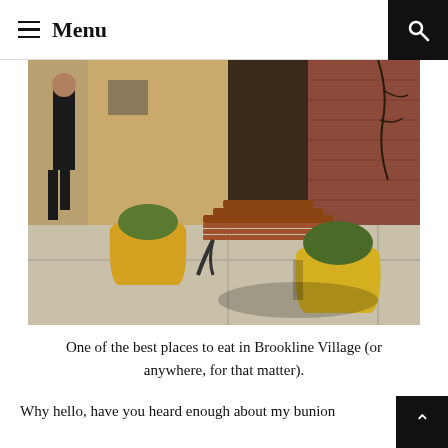≡ Menu
[Figure (photo): Street scene in Brookline Village showing a wooden bench on a sidewalk, yellow flower pots with plants, brick buildings, and a person walking in the background.]
One of the best places to eat in Brookline Village (or anywhere, for that matter).
Why hello, have you heard enough about my bunion